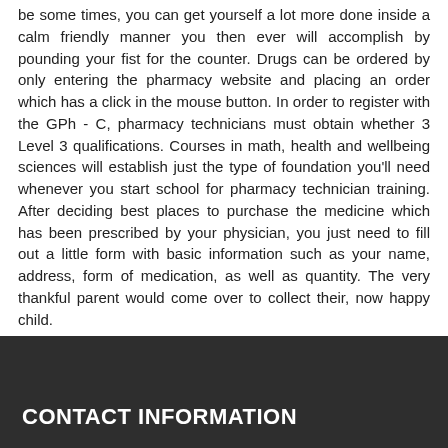be some times, you can get yourself a lot more done inside a calm friendly manner you then ever will accomplish by pounding your fist for the counter. Drugs can be ordered by only entering the pharmacy website and placing an order which has a click in the mouse button. In order to register with the GPh - C, pharmacy technicians must obtain whether 3 Level 3 qualifications. Courses in math, health and wellbeing sciences will establish just the type of foundation you'll need whenever you start school for pharmacy technician training. After deciding best places to purchase the medicine which has been prescribed by your physician, you just need to fill out a little form with basic information such as your name, address, form of medication, as well as quantity. The very thankful parent would come over to collect their, now happy child.
CONTACT INFORMATION